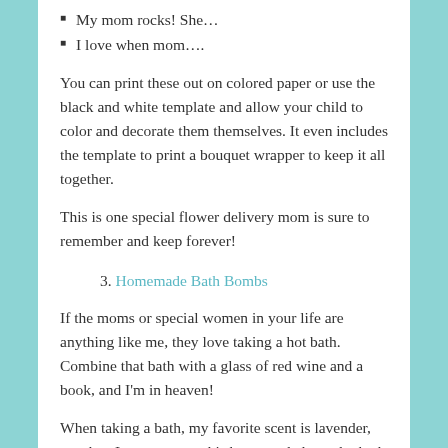My mom rocks! She…
I love when mom….
You can print these out on colored paper or use the black and white template and allow your child to color and decorate them themselves. It even includes the template to print a bouquet wrapper to keep it all together.
This is one special flower delivery mom is sure to remember and keep forever!
3. Homemade Bath Bombs
If the moms or special women in your life are anything like me, they love taking a hot bath. Combine that bath with a glass of red wine and a book, and I'm in heaven!
When taking a bath, my favorite scent is lavender, so when I came across this homemade lavender bath